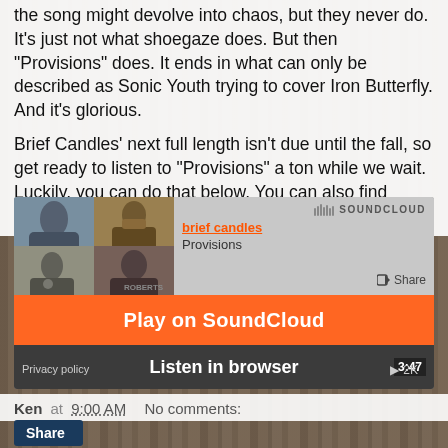the song might devolve into chaos, but they never do. It's just not what shoegaze does. But then "Provisions" does. It ends in what can only be described as Sonic Youth trying to cover Iron Butterfly. And it's glorious.
Brief Candles' next full length isn't due until the fall, so get ready to listen to "Provisions" a ton while we wait. Luckily, you can do that below. You can also find some more information on their Bandcamp.
[Figure (screenshot): SoundCloud embedded player showing 'brief candles - Provisions' with orange play button, 'Play on SoundCloud' orange bar, 'Listen in browser' dark overlay, timestamp 3:47, Privacy policy text, and 2K play count.]
Ken at 9:00 AM   No comments:
Share